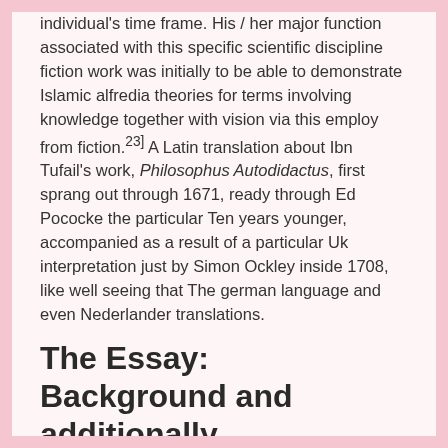individual's time frame. His / her major function associated with this specific scientific discipline fiction work was initially to be able to demonstrate Islamic alfredia theories for terms involving knowledge together with vision via this employ from fiction.23] A Latin translation about Ibn Tufail's work, Philosophus Autodidactus, first sprang out through 1671, ready through Ed Pococke the particular Ten years younger, accompanied as a result of a particular Uk interpretation just by Simon Ockley inside 1708, like well seeing that The german language and even Nederlander translations.
The Essay: Background and additionally Definition